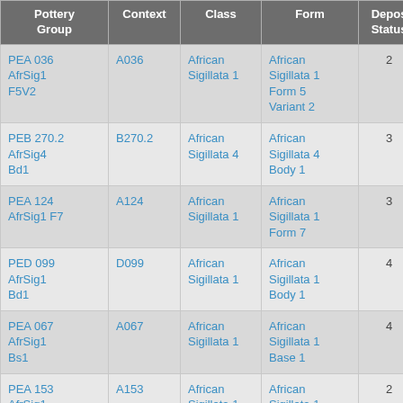| Pottery Group | Context | Class | Form | Depos Status | R Ct | R EV |
| --- | --- | --- | --- | --- | --- | --- |
| PEA 036 AfrSig1 F5V2 | A036 | African Sigillata 1 | African Sigillata 1 Form 5 Variant 2 | 2 | 1 | 1 |
| PEB 270.2 AfrSig4 Bd1 | B270.2 | African Sigillata 4 | African Sigillata 4 Body 1 | 3 |  |  |
| PEA 124 AfrSig1 F7 | A124 | African Sigillata 1 | African Sigillata 1 Form 7 | 3 | 1 | 1 |
| PED 099 AfrSig1 Bd1 | D099 | African Sigillata 1 | African Sigillata 1 Body 1 | 4 |  |  |
| PEA 067 AfrSig1 Bs1 | A067 | African Sigillata 1 | African Sigillata 1 Base 1 | 4 |  |  |
| PEA 153 AfrSig1 F8V1 | A153 | African Sigillata 1 | African Sigillata 1 Form 8 Variant 1 | 2 | 1 | 1 |